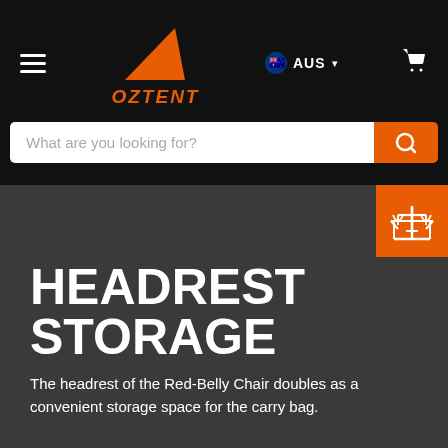[Figure (logo): Oztent logo with orange triangle and italic orange OZTENT text on black background]
[Figure (screenshot): Search bar with placeholder text 'What are you looking for?' and orange search button]
HEADREST STORAGE
The headrest of the Red-Belly Chair doubles as a convenient storage space for the carry bag.